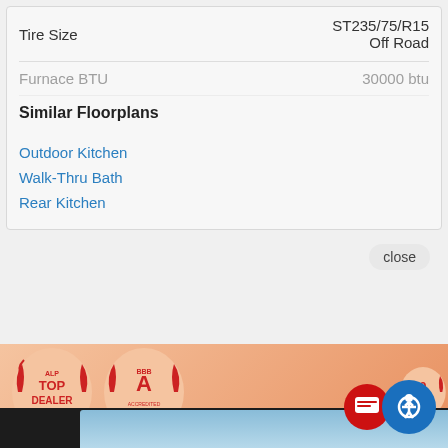| Tire Size | ST235/75/R15 Off Road |
| --- | --- |
| Furnace BTU | 30000 btu |
Similar Floorplans
Outdoor Kitchen
Walk-Thru Bath
Rear Kitchen
[Figure (screenshot): Website screenshot showing RV dealer page with award badges (ALP Top Dealer Winner, BBB Award), a chat popup saying 'Hi there, have a question for Sutton RV? Text us here.' with Sutton S logo, close button, and accessibility/chat FABs. Bottom shows a dark panel with skiing imagery.]